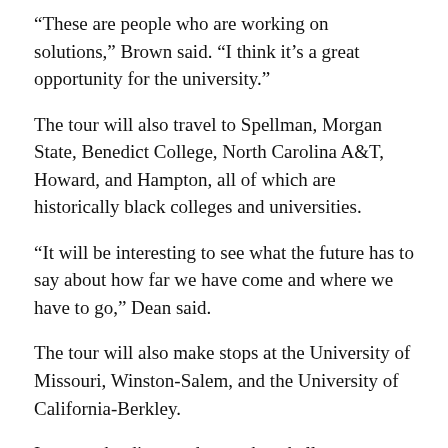“These are people who are working on solutions,” Brown said. “I think it’s a great opportunity for the university.”
The tour will also travel to Spellman, Morgan State, Benedict College, North Carolina A&T, Howard, and Hampton, all of which are historically black colleges and universities.
“It will be interesting to see what the future has to say about how far we have come and where we have to go,” Dean said.
The tour will also make stops at the University of Missouri, Winston-Salem, and the University of California-Berkley.
Issues to be discussed are, what challenges are facing African-American communities, what progress has been made with the election of the first black president, and what